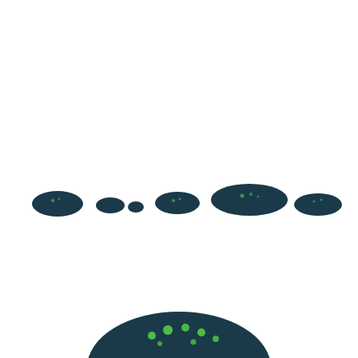[Figure (illustration): A sequence of dark teal/navy semi-circular hill or mound shapes arranged in a horizontal row near the vertical center of the image, varying in size. At the bottom center, a large dark teal semi-circle with small bright green dots/spots is partially visible, appearing to rise from the bottom edge. The background is white. The mounds have subtle green speckles on their surfaces.]